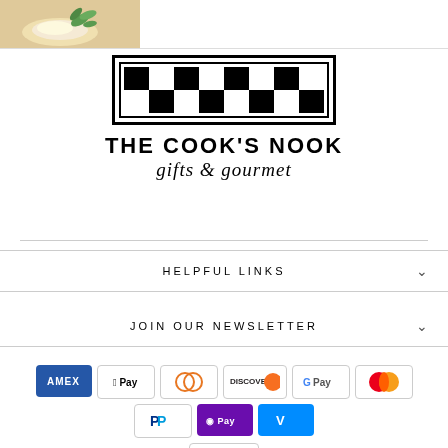[Figure (photo): Partial image of food dish with mint garnish on light background, top left corner]
[Figure (logo): The Cook's Nook gifts & gourmet logo with checkerboard pattern border, brand name in bold uppercase, and cursive subtitle]
HELPFUL LINKS
JOIN OUR NEWSLETTER
[Figure (infographic): Payment method icons: American Express, Apple Pay, Diners Club, Discover, Google Pay, Mastercard, PayPal, OPay, Venmo, Visa]